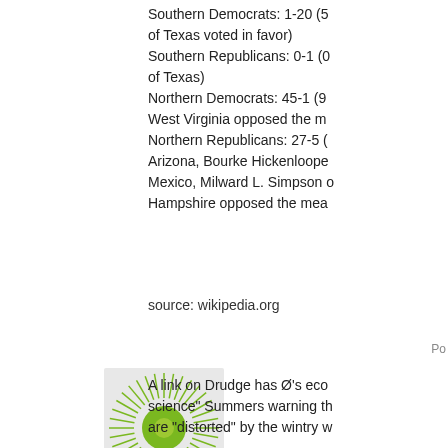Southern Democrats: 1-20 (5 of Texas voted in favor)
Southern Republicans: 0-1 (0 of Texas)
Northern Democrats: 45-1 (98 West Virginia opposed the m
Northern Republicans: 27-5 ( Arizona, Bourke Hickenloope Mexico, Milward L. Simpson Hampshire opposed the mea
source: wikipedia.org
Po
[Figure (illustration): Green circular sunburst/mandala illustration with a green circle center on white background]
A link on Drudge has Ø's eco science" Summers warning th are "distorted" by the wintry w
Like that old joke, Mom's on t
Po
[Figure (illustration): Blue/grey circular mandala/flower illustration]
Amen to all above, especially